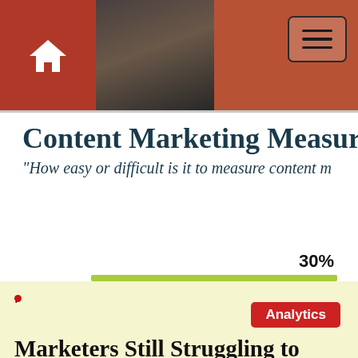Content Marketing Measurement — How easy or difficult is it to measure content m[arketing]
30%
Analytics
Marketers Still Struggling to Measure Content Performance
Marketing Charts About 6 in 10 marketers are finding measuring content marketing performance either